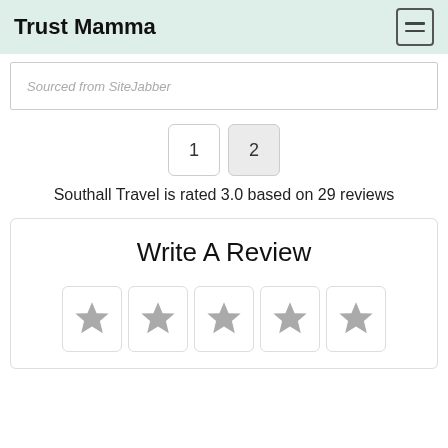Trust Mamma
Sourced from SiteJabber
1  2
Southall Travel is rated 3.0 based on 29 reviews
Write A Review
[Figure (other): Five empty star rating icons for user input]